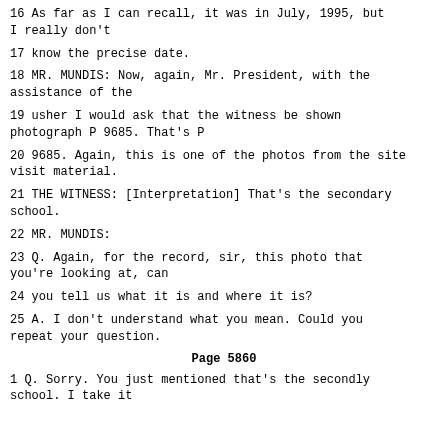16  As far as I can recall, it was in July, 1995, but I really don't
17  know the precise date.
18  MR. MUNDIS: Now, again, Mr. President, with the assistance of the
19  usher I would ask that the witness be shown photograph P 9685. That's P
20  9685. Again, this is one of the photos from the site visit material.
21  THE WITNESS: [Interpretation] That's the secondary school.
22  MR. MUNDIS:
23  Q. Again, for the record, sir, this photo that you're looking at, can
24  you tell us what it is and where it is?
25  A. I don't understand what you mean. Could you repeat your question.
Page 5860
1  Q. Sorry. You just mentioned that's the secondly school. I take it